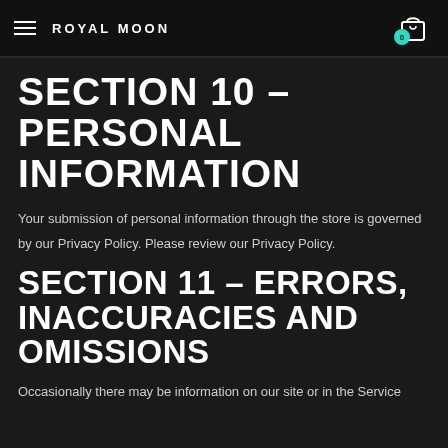ROYAL MOON
SECTION 10 – PERSONAL INFORMATION
Your submission of personal information through the store is governed by our Privacy Policy. Please review our Privacy Policy.
SECTION 11 – ERRORS, INACCURACIES AND OMISSIONS
Occasionally there may be information on our site or in the Service